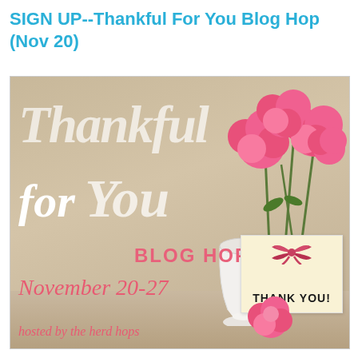SIGN UP--Thankful For You Blog Hop (Nov 20)
[Figure (illustration): Promotional blog hop banner image with warm beige/tan background. Large white/transparent script text reads 'Thankful for You'. Bold coral/pink text reads 'BLOG HOP'. Italic coral text reads 'November 20-27'. Italic pink text at bottom reads 'hosted by the herd hops'. Pink carnation flowers in a white vase on the right side. A yellow card with red ribbon bow and bold text 'THANK YOU!' sits in front of the vase. A pink carnation flower rests at the bottom right.]